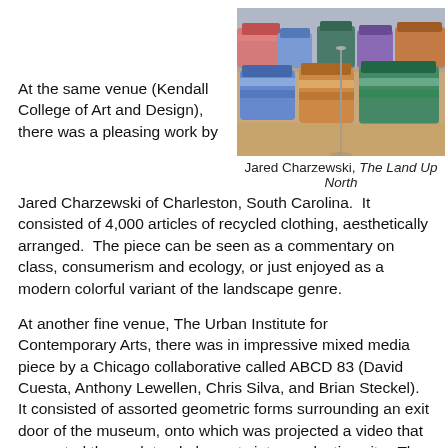[Figure (photo): Photo of stacked and arranged colorful recycled clothing items on a wooden floor in a gallery setting. The installation shows neatly folded garments piled in rows, with a metal stand visible in the center.]
Jared Charzewski, The Land Up North
At the same venue (Kendall College of Art and Design), there was a pleasing work by Jared Charzewski of Charleston, South Carolina.  It consisted of 4,000 articles of recycled clothing, aesthetically arranged.  The piece can be seen as a commentary on class, consumerism and ecology, or just enjoyed as a modern colorful variant of the landscape genre.
At another fine venue, The Urban Institute for Contemporary Arts, there was in impressive mixed media piece by a Chicago collaborative called ABCD 83 (David Cuesta, Anthony Lewellen, Chris Silva, and Brian Steckel).  It consisted of assorted geometric forms surrounding an exit door of the museum, onto which was projected a video that converted the sculptural elements into a pulsating city.  The door became the backdrop for projected sunsets and flying robots.  Most clever, however, was the floor below the door